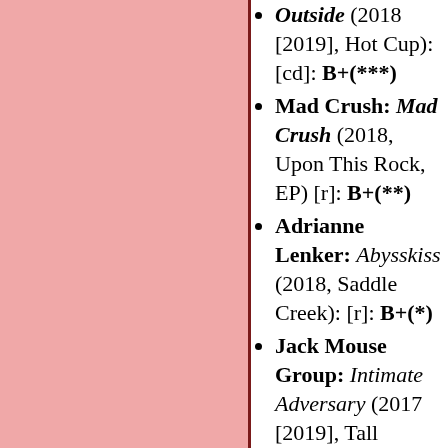Outside (2018 [2019], Hot Cup): [cd]: B+(***)
Mad Crush: Mad Crush (2018, Upon This Rock, EP) [r]: B+(**)
Adrianne Lenker: Abysskiss (2018, Saddle Creek): [r]: B+(*)
Jack Mouse Group: Intimate Adversary (2017 [2019], Tall Grass): [cd]: B+(*)
Grant Peeples & the Peeples Republik: Settling Scores Vol. II (2018, Gatorbone): [r]: B+(**)
Rae Sremmurd: SR3MM (2018, Ear Drummer/Interscope, 3CD): [r]: B
Rejoicer: Energy Dreams (2018, ,Stones Throw): [bc]: B+(**)
Jay Rock: Redemption (2018, Top Dawg/Interscope): [r]: B+(**)